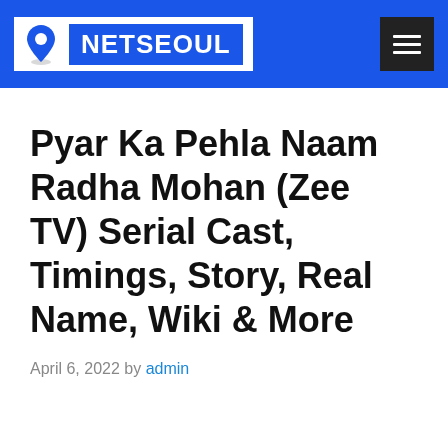NETSEOUL
Pyar Ka Pehla Naam Radha Mohan (Zee TV) Serial Cast, Timings, Story, Real Name, Wiki & More
April 6, 2022 by admin